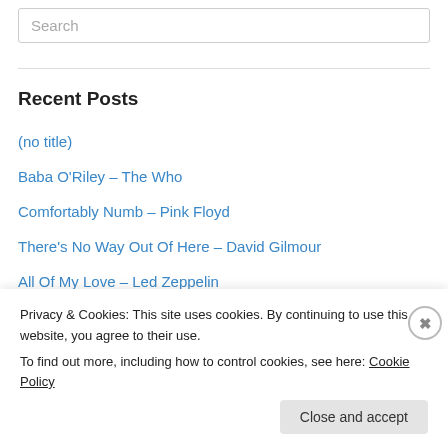Search
Recent Posts
(no title)
Baba O'Riley – The Who
Comfortably Numb – Pink Floyd
There's No Way Out Of Here – David Gilmour
All Of My Love – Led Zeppelin
Recent Comments
Privacy & Cookies: This site uses cookies. By continuing to use this website, you agree to their use.
To find out more, including how to control cookies, see here: Cookie Policy
Close and accept